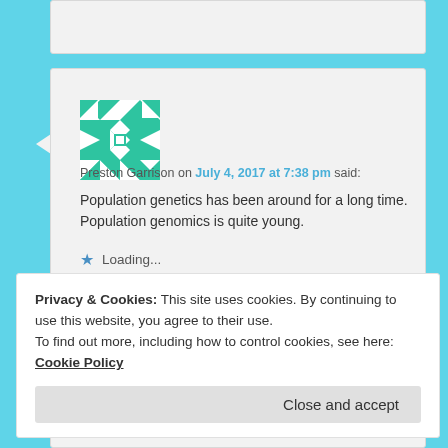[Figure (illustration): Truncated top comment card (gray background, partially visible)]
[Figure (illustration): Geometric avatar image with teal/mint and white geometric pattern (identicon style)]
Preston Garrison on July 4, 2017 at 7:38 pm said:
Population genetics has been around for a long time. Population genomics is quite young.
★ Loading...
Reply ↓
Privacy & Cookies: This site uses cookies. By continuing to use this website, you agree to their use.
To find out more, including how to control cookies, see here: Cookie Policy
Close and accept